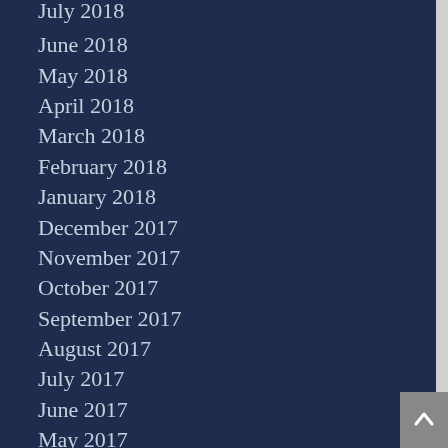July 2018
June 2018
May 2018
April 2018
March 2018
February 2018
January 2018
December 2017
November 2017
October 2017
September 2017
August 2017
July 2017
June 2017
May 2017
April 2017
March 2017